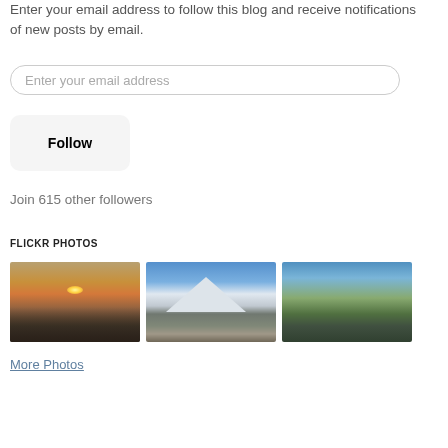Enter your email address to follow this blog and receive notifications of new posts by email.
Enter your email address
Follow
Join 615 other followers
FLICKR PHOTOS
[Figure (photo): Three Flickr photos: a sunset over the ocean, snowy mountains under blue sky, and a cabin by a lake in a forest]
More Photos